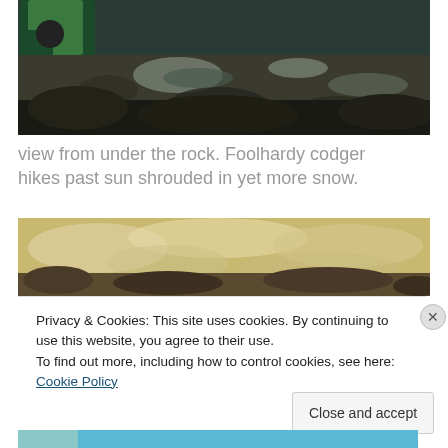[Figure (photo): View from under a rock looking out over snowy, rocky terrain. A person in a green jacket is partially visible at the top left. The landscape is dark and wintry.]
view from under the rock. Foolhardy codger hikes past sun shrouded in yet more snow.
[Figure (photo): A landscape photograph with sepia/golden tones showing snow or clouds and rocky terrain in the foreground.]
Privacy & Cookies: This site uses cookies. By continuing to use this website, you agree to their use.
To find out more, including how to control cookies, see here: Cookie Policy